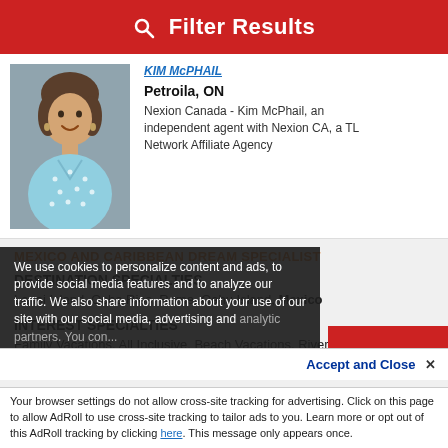Filter Results
Petroila, ON
Nexion Canada - Kim McPhail, an independent agent with Nexion CA, a TL Network Affiliate Agency
MEXICO AND CARIBBEAN DREAM SPECIALIST
DESTINATION SPECIALTIES
Lanai Island, Ocho Rios, Rome, Oahu Island, Mexico
INTEREST SPECIALTIES
Family Vacations, All Inclusive, Beach Vacations, River Cruises
We use cookies to personalize content and ads, to provide social media features and to analyze our traffic. We also share information about your use of our site with our social media, advertising and analytic partners. You con...
Accept and Close ×
Your browser settings do not allow cross-site tracking for advertising. Click on this page to allow AdRoll to use cross-site tracking to tailor ads to you. Learn more or opt out of this AdRoll tracking by clicking here. This message only appears once.